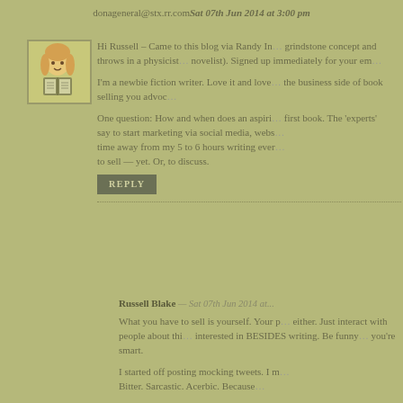donageneral@stx.rr.com Sat 07th Jun 2014 at 3:00 pm
[Figure (illustration): Avatar image of a cartoon character reading a book]
Hi Russell – Came to this blog via Randy In... grindstone concept and throws in a physicist... novelist). Signed up immediately for your em...
I'm a newbie fiction writer. Love it and love... the business side of book selling you advoc...
One question: How and when does an aspiri... first book. The 'experts' say to start marketing via social media, webs... time away from my 5 to 6 hours writing ever... to sell — yet. Or, to discuss.
REPLY
Russell Blake — Sat 07th Jun 2014 at...
What you have to sell is yourself. Your p... either. Just interact with people about thi... interested in BESIDES writing. Be funny... you're smart.
I started off posting mocking tweets. I m... Bitter. Sarcastic. Acerbic. Because...